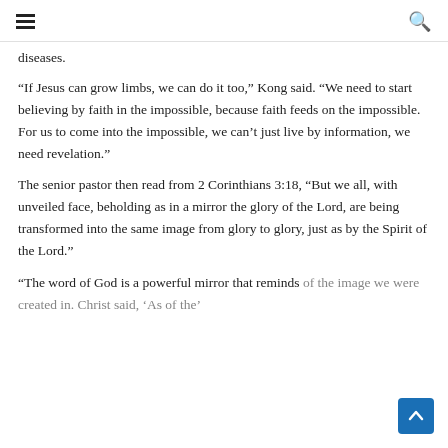[hamburger menu] [search icon]
diseases.
“If Jesus can grow limbs, we can do it too,” Kong said. “We need to start believing by faith in the impossible, because faith feeds on the impossible. For us to come into the impossible, we can’t just live by information, we need revelation.”
The senior pastor then read from 2 Corinthians 3:18, “But we all, with unveiled face, beholding as in a mirror the glory of the Lord, are being transformed into the same image from glory to glory, just as by the Spirit of the Lord.”
“The word of God is a powerful mirror that reminds of the image we were created in. Christ said, ‘As of the’